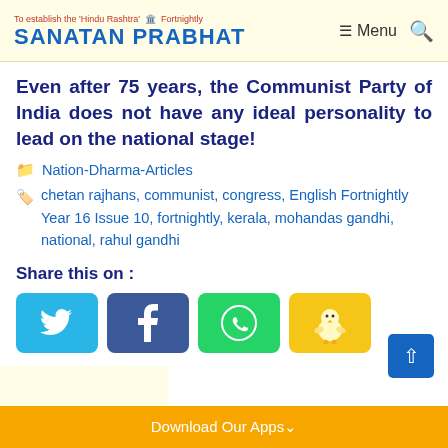To establish the 'Hindu Rashtra' Fortnightly SANATAN PRABHAT Menu
Even after 75 years, the Communist Party of India does not have any ideal personality to lead on the national stage!
Nation-Dharma-Articles
chetan rajhans, communist, congress, English Fortnightly Year 16 Issue 10, fortnightly, kerala, mohandas gandhi, national, rahul gandhi
Share this on :
[Figure (other): Social share buttons: Twitter (blue), Facebook (dark blue), WhatsApp (green), ShareChat (yellow with chick icon)]
Download Our Apps